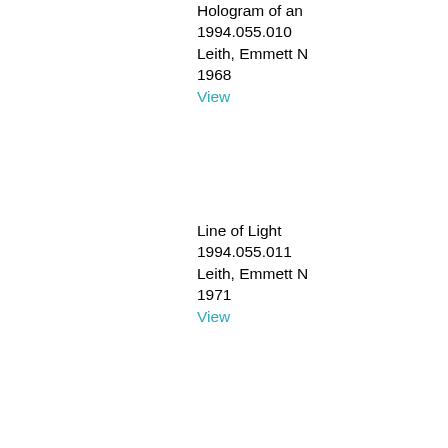Hologram of an
1994.055.010
Leith, Emmett N
1968
View
Line of Light
1994.055.011
Leith, Emmett N
1971
View
Radargraph of L
1994.055.012
circa 1965
View
Korean coin [ho
1994.071.001
Song San Co.,
1991
View
360-degree Con
1994.095.001
Yaroslavskii, Le